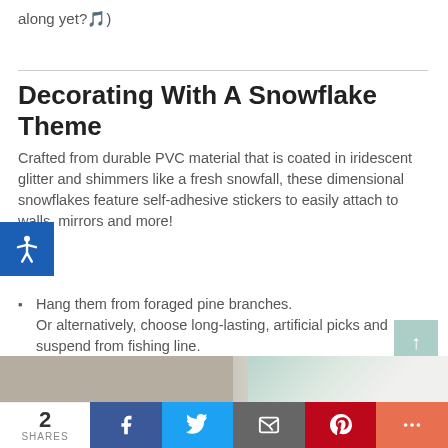along yet?🎵)
Decorating With A Snowflake Theme
Crafted from durable PVC material that is coated in iridescent glitter and shimmers like a fresh snowfall, these dimensional snowflakes feature self-adhesive stickers to easily attach to walls, mirrors and more!
Hang them from foraged pine branches. Or alternatively, choose long-lasting, artificial picks and suspend from fishing line.
Cluster the snowflakes together to create a beautiful table runner.
[Figure (photo): Partial view of a decorative image at the bottom of the article]
2 SHARES | Facebook | Twitter | Email | Pinterest | More